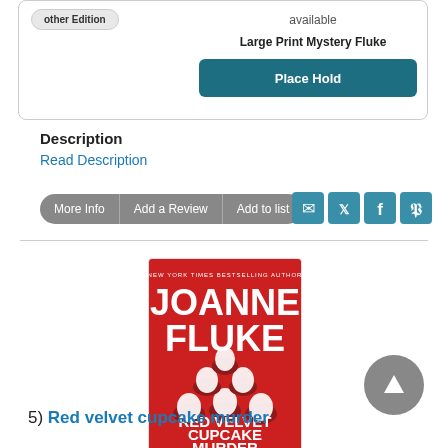available
Large Print Mystery Fluke
Place Hold
Description
Read Description
More Info | Add a Review | Add to list
[Figure (illustration): Book cover: Red Velvet Cupcake Murder by Joanne Fluke, New York Times Bestselling Author. Red background with white cream cupcakes illustrated on cover. A Hannah Swensen Mystery with Recipes.]
5)  Red velvet cupcake murder